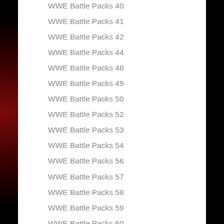WWE Battle Packs 40
WWE Battle Packs 41
WWE Battle Packs 42
WWE Battle Packs 44
WWE Battle Packs 48
WWE Battle Packs 49
WWE Battle Packs 50
WWE Battle Packs 52
WWE Battle Packs 53
WWE Battle Packs 54
WWE Battle Packs 56
WWE Battle Packs 57
WWE Battle Packs 58
WWE Battle Packs 59
WWE Battle Packs 60
WWE Battle Packs 61
WWE Bridge Direct
WWE Elite Series 27